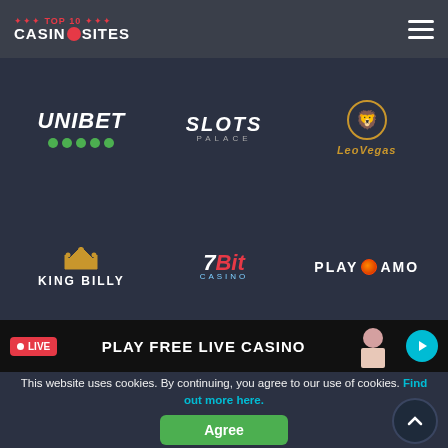TOP 10 CASINO SITES
[Figure (logo): Unibet logo with green rating dots]
[Figure (logo): Slots Palace logo]
[Figure (logo): LeoVegas logo with lion icon]
[Figure (logo): King Billy logo with crown]
[Figure (logo): 7Bit Casino logo]
[Figure (logo): Playamo logo]
ONLINE CASINOS
Casino Reviews
New Casinos
[Figure (infographic): LIVE - PLAY FREE LIVE CASINO banner with live dealer image and arrow button]
This website uses cookies. By continuing, you agree to our use of cookies. Find out more here.
Agree